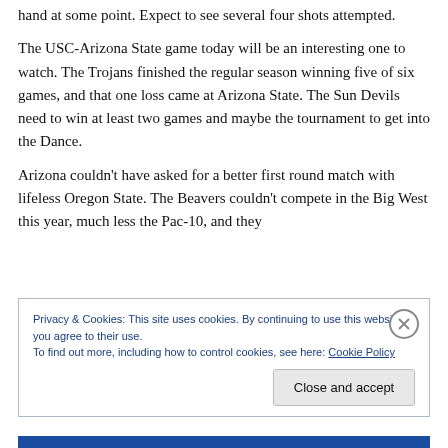hand at some point. Expect to see several four shots attempted.
The USC-Arizona State game today will be an interesting one to watch. The Trojans finished the regular season winning five of six games, and that one loss came at Arizona State. The Sun Devils need to win at least two games and maybe the tournament to get into the Dance.
Arizona couldn't have asked for a better first round match with lifeless Oregon State. The Beavers couldn't compete in the Big West this year, much less the Pac-10, and they
Privacy & Cookies: This site uses cookies. By continuing to use this website, you agree to their use.
To find out more, including how to control cookies, see here: Cookie Policy
Close and accept